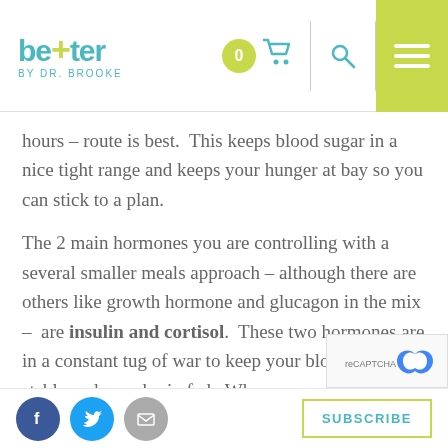better BY DR. BROOKE
hours – route is best.  This keeps blood sugar in a nice tight range and keeps your hunger at bay so you can stick to a plan.
The 2 main hormones you are controlling with a several smaller meals approach – although there are others like growth hormone and glucagon in the mix –  are insulin and cortisol.  These two hormones are in a constant tug of war to keep your blood sugar stable and your brain fed.  When you eat, insulin will rise and when you are between meals and sleeping cortisol will rise.  Insulin gets the fuel from a meal out of the
SUBSCRIBE